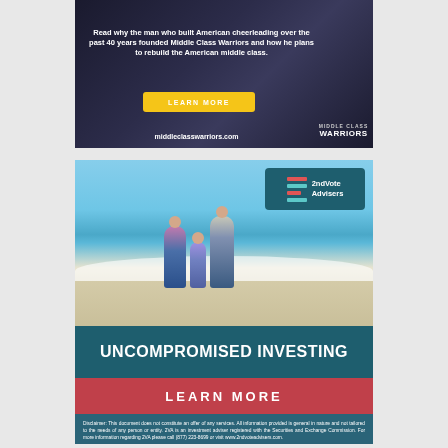[Figure (advertisement): Middle Class Warriors advertisement. Dark background with text: 'Read why the man who built American cheerleading over the past 40 years founded Middle Class Warriors and how he plans to rebuild the American middle class.' Yellow 'LEARN MORE' button. URL: middleclasswarriors.com. Middle Class Warriors logo bottom right.]
[Figure (advertisement): 2ndVote Advisers advertisement. Beach photo of family of three holding hands. 2ndVote Advisers logo top right. Dark teal banner: 'UNCOMPROMISED INVESTING'. Red 'LEARN MORE' button. Disclaimer text at bottom about investment services.]
Disclaimer: This document does not constitute an offer of any services. All information provided is general in nature and not tailored to the needs of any person or entity. 2VA is an investment adviser registered with the Securities and Exchange Commission. For more information regarding 2VA please call (877) 223-8699 or visit www.2ndvoteadvisers.com.